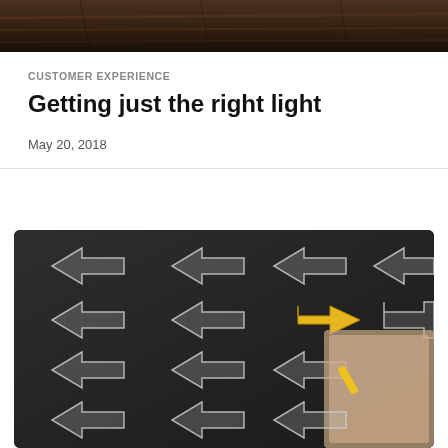[Figure (photo): Dark wood floor background photo strip at top of page]
CUSTOMER EXPERIENCE
Getting just the right light
May 20, 2018
[Figure (photo): Chalkboard with multiple white chalk arrows pointing left and one yellow arrow pointing right, being drawn by a hand holding chalk — concept of standing out from the crowd]